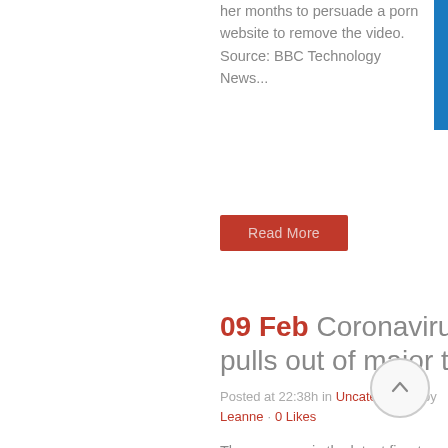her months to persuade a porn website to remove the video. Source: BBC Technology News...
Read More
09 Feb Coronavirus: Amazon pulls out of major tech show
Posted at 22:38h in Uncategorised by Leanne · 0 Likes
The company is the latest firm to withdraw from Mobile World Congress in